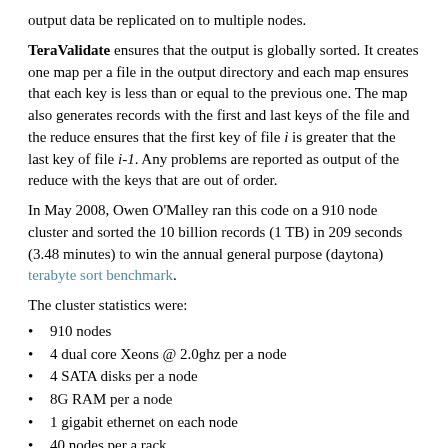output data be replicated on to multiple nodes.
TeraValidate ensures that the output is globally sorted. It creates one map per a file in the output directory and each map ensures that each key is less than or equal to the previous one. The map also generates records with the first and last keys of the file and the reduce ensures that the first key of file i is greater that the last key of file i-1. Any problems are reported as output of the reduce with the keys that are out of order.
In May 2008, Owen O'Malley ran this code on a 910 node cluster and sorted the 10 billion records (1 TB) in 209 seconds (3.48 minutes) to win the annual general purpose (daytona) terabyte sort benchmark.
The cluster statistics were:
910 nodes
4 dual core Xeons @ 2.0ghz per a node
4 SATA disks per a node
8G RAM per a node
1 gigabit ethernet on each node
40 nodes per a rack
8 gigabit ethernet uplinks from each rack to the core
Red Hat Enterprise Linux Server Release 5.1 (kernel 2.6.18)